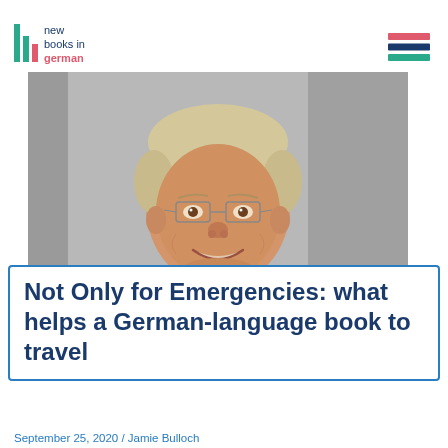new books in german
[Figure (photo): Headshot of a middle-aged man with blond/grey hair, wearing glasses and a red shirt, smiling, against a grey background.]
Not Only for Emergencies: what helps a German-language book to travel
September 25, 2020 / Jamie Bulloch